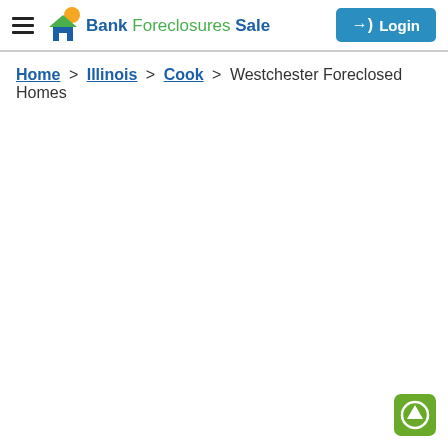Bank Foreclosures Sale — Login
Home > Illinois > Cook > Westchester Foreclosed Homes
[Figure (other): Scroll-to-top button, green rounded square with white upward arrow icon]